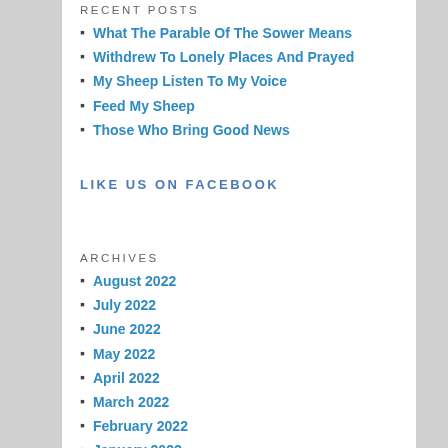RECENT POSTS
What The Parable Of The Sower Means
Withdrew To Lonely Places And Prayed
My Sheep Listen To My Voice
Feed My Sheep
Those Who Bring Good News
LIKE US ON FACEBOOK
ARCHIVES
August 2022
July 2022
June 2022
May 2022
April 2022
March 2022
February 2022
January 2022
December 2021